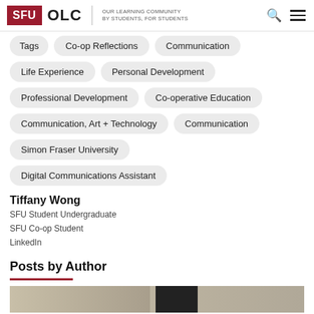SFU OLC | OUR LEARNING COMMUNITY BY STUDENTS, FOR STUDENTS
Tags
Co-op Reflections
Communication
Life Experience
Personal Development
Professional Development
Co-operative Education
Communication, Art + Technology
Communication
Simon Fraser University
Digital Communications Assistant
Tiffany Wong
SFU Student Undergraduate
SFU Co-op Student
LinkedIn
Posts by Author
[Figure (photo): Partial image visible at bottom of page]